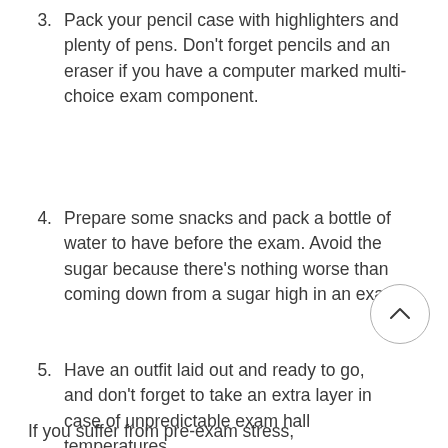3. Pack your pencil case with highlighters and plenty of pens. Don't forget pencils and an eraser if you have a computer marked multi-choice exam component.
4. Prepare some snacks and pack a bottle of water to have before the exam. Avoid the sugar because there's nothing worse than coming down from a sugar high in an exam.
5. Have an outfit laid out and ready to go, and don't forget to take an extra layer in case of unpredictable exam hall temperatures.
If you suffer from pre-exam stress,